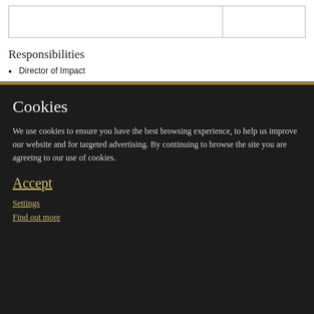|  |  |
Responsibilities
Director of Impact
Cookies
We use cookies to ensure you have the best browsing experience, to help us improve our website and for targeted advertising. By continuing to browse the site you are agreeing to our use of cookies.
Accept
Settings
Find out more